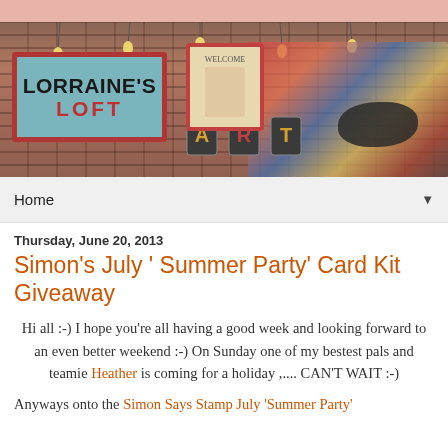[Figure (photo): Blog header banner for 'Lorraine's Loft' showing a brick wall background with hanging Edison bulb lights, a teal sign reading 'LORRAINE'S LOFT' in a red frame, art supplies, a 'Welcome' picture frame, marquee letter 'ART' sign, a colorful patterned armchair, and a cat lying on the chair.]
Home ▼
Thursday, June 20, 2013
Simon's July ' Summer Party' Card Kit Giveaway
Hi all :-) I hope you're all having a good week and looking forward to an even better weekend :-) On Sunday one of my bestest pals and teamie Heather is coming for a holiday ,... CAN'T WAIT :-)
Anyways onto the Simon Says Stamp July 'Summer Party'